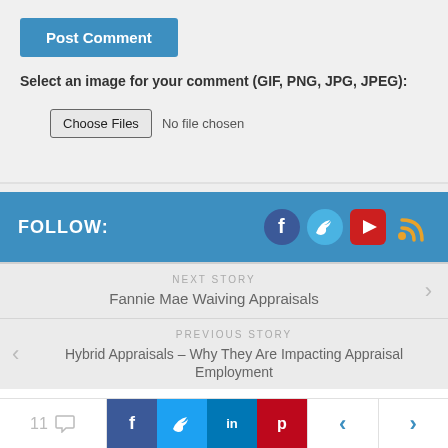Post Comment
Select an image for your comment (GIF, PNG, JPG, JPEG):
Choose Files  No file chosen
FOLLOW:
[Figure (infographic): Social media icons: Facebook, Twitter, YouTube, RSS feed]
NEXT STORY
Fannie Mae Waiving Appraisals
PREVIOUS STORY
Hybrid Appraisals – Why They Are Impacting Appraisal Employment
11  [comment icon]  [Facebook share]  [Twitter share]  [LinkedIn share]  [Pinterest share]